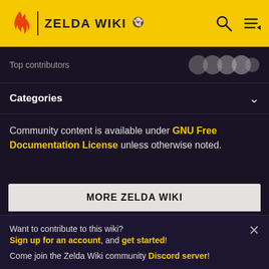ZELDA WIKI
Top contributors
Categories
Community content is available under GNU Free Documentation License unless otherwise noted.
MORE ZELDA WIKI
1 The Legend of Zelda: Breath of the Wild
Want to contribute to this wiki? Sign up for an account, and get started! Come join the Zelda Wiki community Discord server!